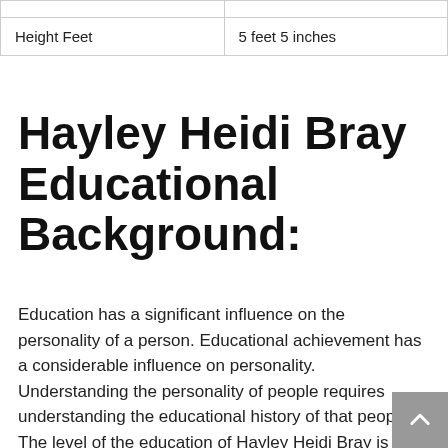|  |  |
| Height Feet | 5 feet 5 inches |
Hayley Heidi Bray Educational Background:
Education has a significant influence on the personality of a person. Educational achievement has a considerable influence on personality. Understanding the personality of people requires understanding the educational history of that people. The level of the education of Hayley Heidi Bray is shown in the chart below.